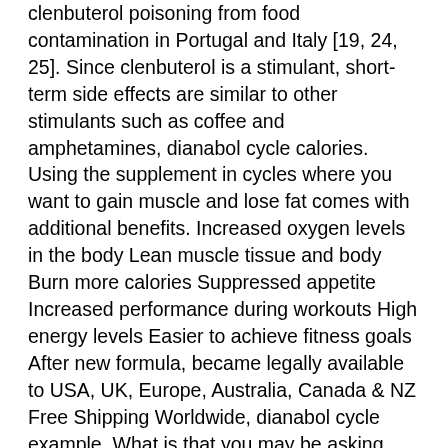clenbuterol poisoning from food contamination in Portugal and Italy [19, 24, 25]. Since clenbuterol is a stimulant, short-term side effects are similar to other stimulants such as coffee and amphetamines, dianabol cycle calories. Using the supplement in cycles where you want to gain muscle and lose fat comes with additional benefits. Increased oxygen levels in the body Lean muscle tissue and body Burn more calories Suppressed appetite Increased performance during workouts High energy levels Easier to achieve fitness goals After new formula, became legally available to USA, UK, Europe, Australia, Canada &amp; NZ Free Shipping Worldwide, dianabol cycle example. What is that you may be asking, well, he or she just learned to stop saying that stereotypical stuff that so many do, that is, “he or she looks like that just because of the steroids”. Many steroid users don’t realize that Trenbolone